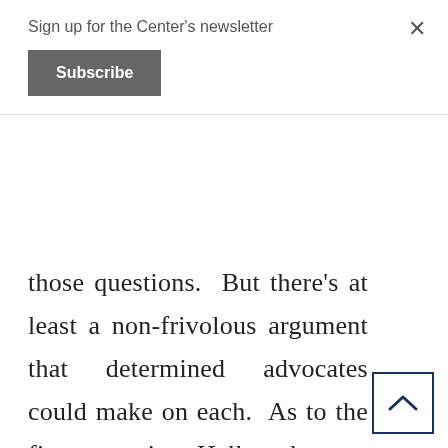Sign up for the Center's newsletter
Subscribe
those questions.  But there's at least a non-frivolous argument that determined advocates could make on each.  As to the first  question, Heller  has